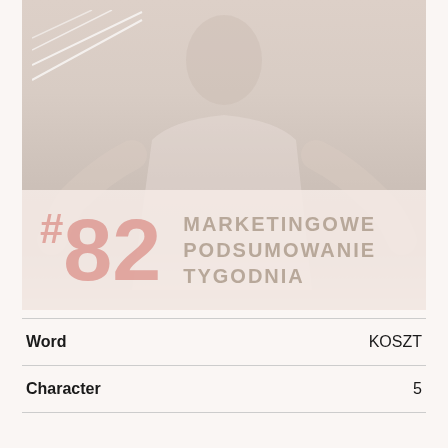[Figure (photo): Faded/washed-out photo of a person (presenter) standing behind a desk or podium, with white geometric lines in upper left corner. Bottom portion has a semi-transparent banner overlay showing '#82 MARKETINGOWE PODSUMOWANIE TYGODNIA'.]
| Word | KOSZT |
| --- | --- |
| Character | 5 |